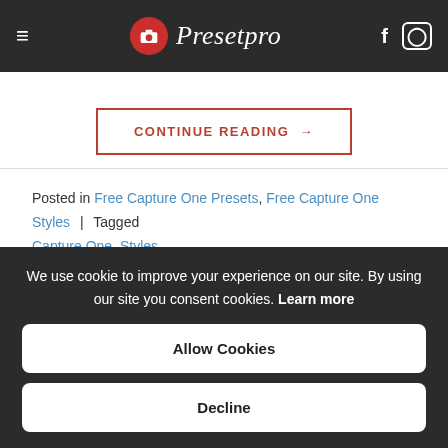Presetpro
CONTINUE READING →
Posted in Free Capture One Presets, Free Capture One Styles | Tagged Capture One, Styles
BRIGHT STYLES, CAPTURE ONE PRESETS, CINEMATIC STYLES, COMPLETE COLLECTION, FILM EMULATION STYLES, MOODY
We use cookie to improve your experience on our site. By using our site you consent cookies. Learn more
Allow Cookies
Decline